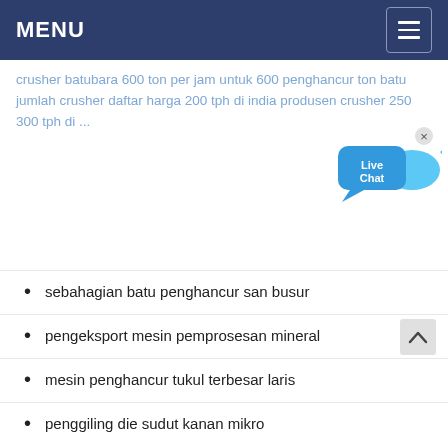MENU
crusher batubara 600 ton per jam untuk 600 penghancur ton batu jumlah crusher daftar harga 200 tph di india produsen crusher 250 300 tph di ...
[Figure (illustration): Live Chat bubble widget with fish icon and close button, blue color scheme]
sebahagian batu penghancur san busur
pengeksport mesin pemprosesan mineral
mesin penghancur tukul terbesar laris
penggiling die sudut kanan mikro